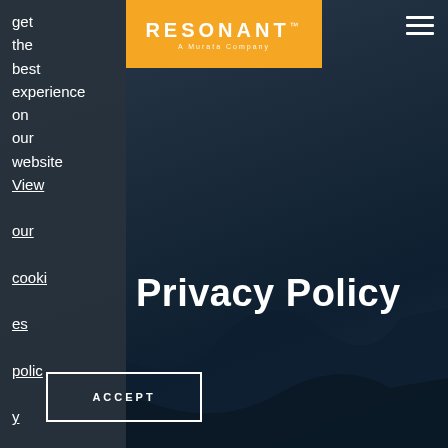[Figure (logo): Resonant - A Murata Company logo in orange box]
[Figure (illustration): Hamburger/menu icon in top right corner]
get the best experience on our website View our cookies policy
Privacy Policy
ACCEPT